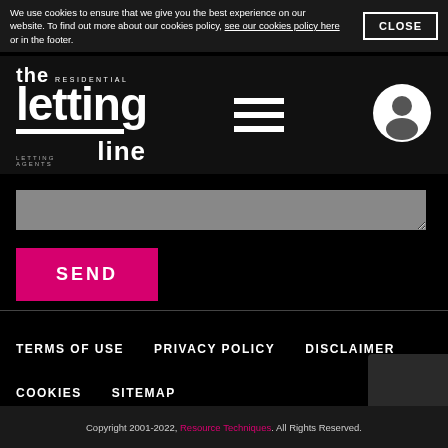We use cookies to ensure that we give you the best experience on our website. To find out more about our cookies policy, see our cookies policy here or in the footer.
CLOSE
[Figure (logo): The Residential Letting Line - Letting Agents logo, white text on black background]
[Figure (illustration): Hamburger menu icon - three white horizontal bars]
[Figure (illustration): User account icon - white circle with person silhouette]
SEND
TERMS OF USE   PRIVACY POLICY   DISCLAIMER   COOKIES   SITEMAP
Copyright 2001-2022, Resource Techniques. All Rights Reserved.